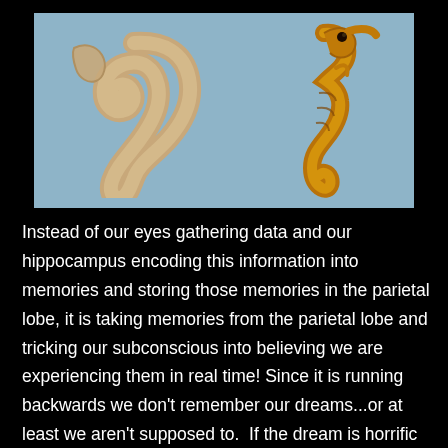[Figure (photo): Side-by-side comparison photo of a hippocampus brain structure (left, tan/beige curved tissue) and a seahorse (right, golden-brown) against a light blue background, illustrating the anatomical similarity that gave the hippocampus its name.]
Instead of our eyes gathering data and our hippocampus encoding this information into memories and storing those memories in the parietal lobe, it is taking memories from the parietal lobe and tricking our subconscious into believing we are experiencing them in real time! Since it is running backwards we don't remember our dreams...or at least we aren't supposed to.  If the dream is horrific enough, we snap awake in a cold sweat and have the last details of our dreams active in our working memory for about 4 minutes.  After